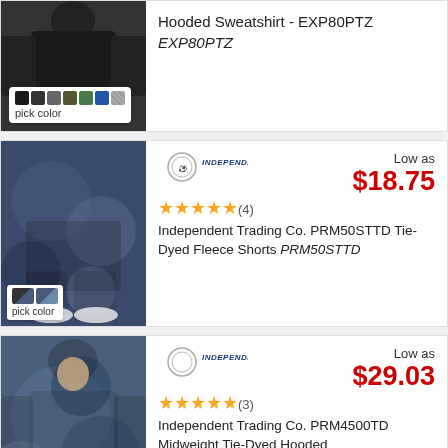[Figure (photo): Partial view of hooded sweatshirt product card with color swatches and 'pick color' label, product name: Hooded Sweatshirt - EXP80PTZ]
Hooded Sweatshirt - EXP80PTZ EXP80PTZ
[Figure (photo): Man wearing tie-dyed fleece shorts, blue/grey pattern, with two color swatches and 'pick color' label]
Low as
$18.75
★★★★★ (4)
Independent Trading Co. PRM50STTD Tie-Dyed Fleece Shorts PRM50STTD
[Figure (photo): Man wearing tie-dyed midweight hoodie, blue/grey pattern, with multiple color swatches]
Low as
$29.03
★★★★★ (3)
Independent Trading Co. PRM4500TD Midweight Tie-Dyed Hooded
4.3 ★★★★☆ Google Customer Reviews
Low as